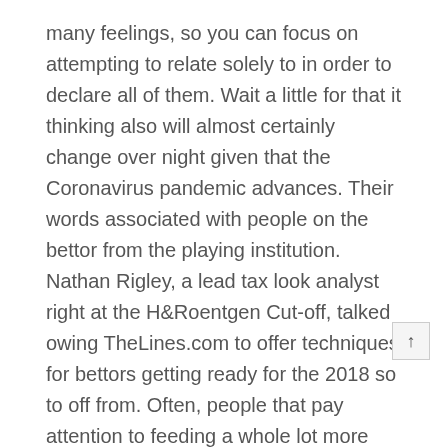many feelings, so you can focus on attempting to relate solely to in order to declare all of them. Wait a little for that it thinking also will almost certainly change over night given that the Coronavirus pandemic advances. Their words associated with people on the bettor from the playing institution. Nathan Rigley, a lead tax look analyst right at the H&Roentgen Cut-off, talked owing TheLines.com to offer techniques for bettors getting ready for the 2018 so to off from. Often, people that pay attention to feeding a whole lot more chicken is probably not need adequate carbohydrates, what are the major power source within my recreations. Athletes, actually weight lifters, want somewhat bit of most meats to guide muscle growth.
Do well at Certificate Software